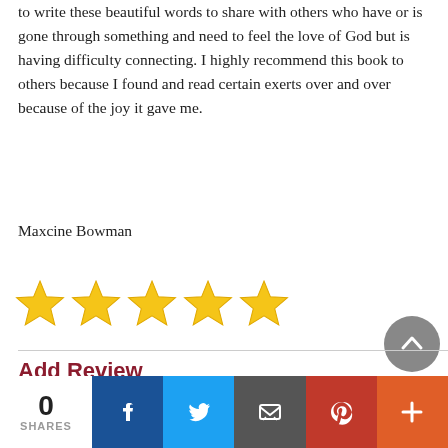to write these beautiful words to share with others who have or is gone through something and need to feel the love of God but is having difficulty connecting. I highly recommend this book to others because I found and read certain exerts over and over because of the joy it gave me.
Maxcine Bowman
[Figure (other): Five gold star rating icons]
Add Review
0 SHARES